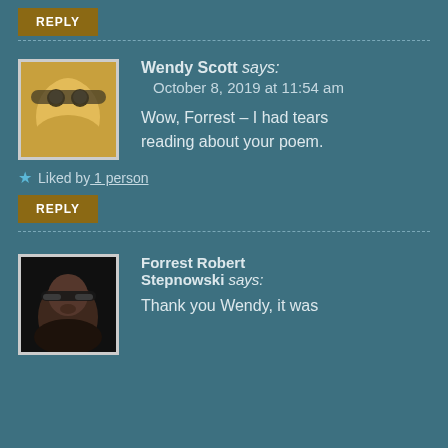REPLY
Wendy Scott says: October 8, 2019 at 11:54 am
[Figure (photo): Avatar photo of Wendy Scott, a woman with sunglasses]
Wow, Forrest – I had tears reading about your poem.
Liked by 1 person
REPLY
Forrest Robert Stepnowski says: Thank you Wendy, it was
[Figure (photo): Avatar photo of Forrest Robert Stepnowski, a man with glasses]